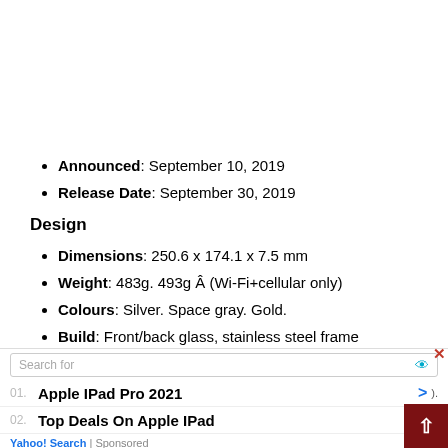Announced: September 10, 2019
Release Date: September 30, 2019
Design
Dimensions: 250.6 x 174.1 x 7.5 mm
Weight: 483g. 493g Â (Wi-Fi+cellular only)
Colours: Silver. Space gray. Gold.
Build: Front/back glass, stainless steel frame
Display